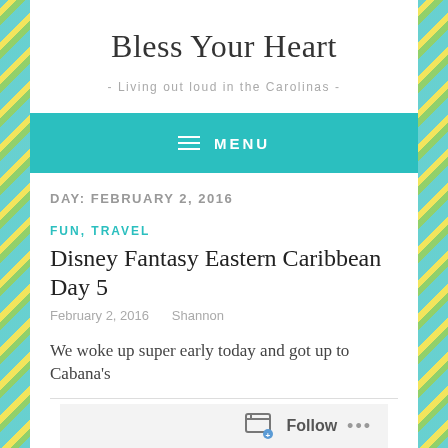Bless Your Heart
- Living out loud in the Carolinas -
≡ MENU
DAY: FEBRUARY 2, 2016
FUN, TRAVEL
Disney Fantasy Eastern Caribbean Day 5
February 2, 2016   Shannon
We woke up super early today and got up to Cabana's
Follow ...